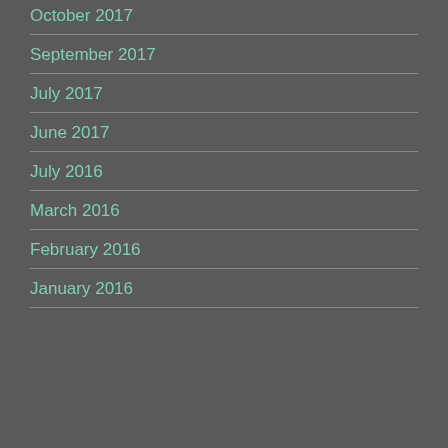October 2017
September 2017
July 2017
June 2017
July 2016
March 2016
February 2016
January 2016